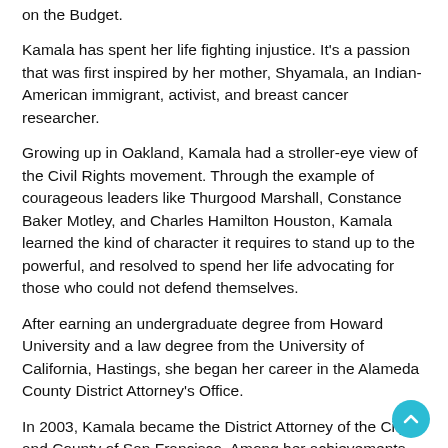on the Budget.
Kamala has spent her life fighting injustice. It's a passion that was first inspired by her mother, Shyamala, an Indian-American immigrant, activist, and breast cancer researcher.
Growing up in Oakland, Kamala had a stroller-eye view of the Civil Rights movement. Through the example of courageous leaders like Thurgood Marshall, Constance Baker Motley, and Charles Hamilton Houston, Kamala learned the kind of character it requires to stand up to the powerful, and resolved to spend her life advocating for those who could not defend themselves.
After earning an undergraduate degree from Howard University and a law degree from the University of California, Hastings, she began her career in the Alameda County District Attorney's Office.
In 2003, Kamala became the District Attorney of the City and County of San Francisco. Among her achievements as District Attorney, Harris started a program that gives first-time drug offenders the chance to earn a high school diploma and find employment.